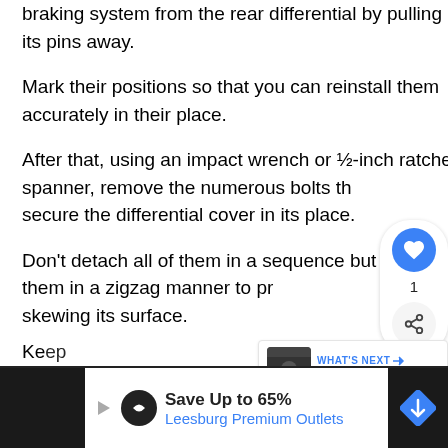First of all, remove the brake lines of the auto braking system from the rear differential by pulling its pins away.
Mark their positions so that you can reinstall them accurately in their place.
After that, using an impact wrench or ½-inch ratchet spanner, remove the numerous bolts that secure the differential cover in its place.
Don't detach all of them in a sequence but loosen them in a zigzag manner to prevent skewing its surface.
Keep… (partial text cut off by ad)